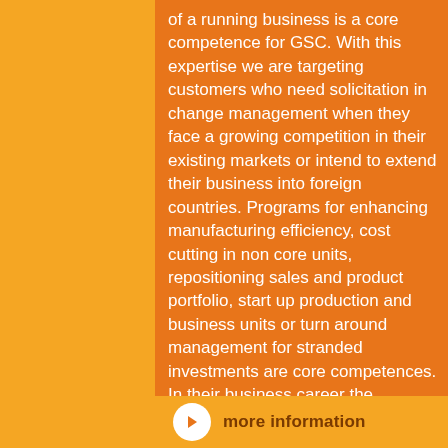of a running business is a core competence for GSC. With this expertise we are targeting customers who need solicitation in change management when they face a growing competition in their existing markets or intend to extend their business into foreign countries. Programs for enhancing manufacturing efficiency, cost cutting in non core units, repositioning sales and product portfolio, start up production and business units or turn around management for stranded investments are core competences. In their business career the managing partners were deeply involved in turnaround projects, the start up of production facilities and the strategically positioning of small to large scale companies. As well GSC is consulting Private Equity and Consulting firms in steel related matters.
more information